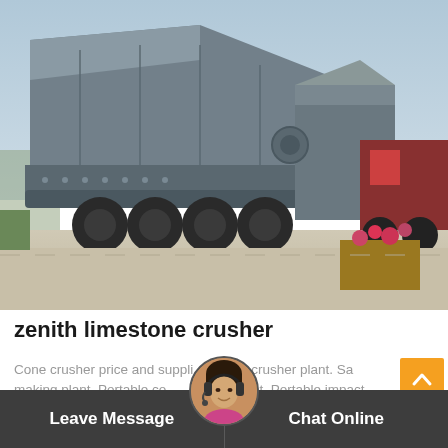[Figure (photo): Large mobile limestone crusher / stone crusher plant mounted on a truck trailer, photographed outdoors on a paved area. Multiple heavy machinery units visible including what appears to be a vibrating screen and crusher. A wooden crate with flowers visible in foreground. Red truck visible on right.]
zenith limestone crusher
Cone crusher price and supplier. Stone crusher plant. Sand making plant. Portable cone crusher plant. Portable impact crusher plant. Portable jaw crusher plant. Portable vsi...
[Figure (photo): Customer service representative avatar - woman wearing headset]
Leave Message
Chat Online